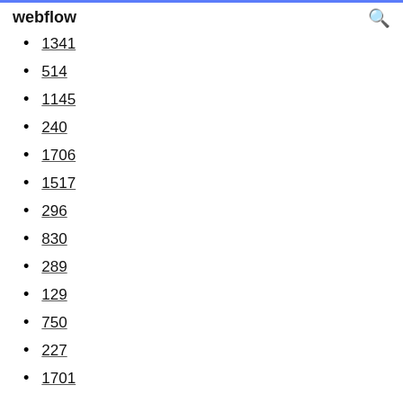webflow
1341
514
1145
240
1706
1517
296
830
289
129
750
227
1701